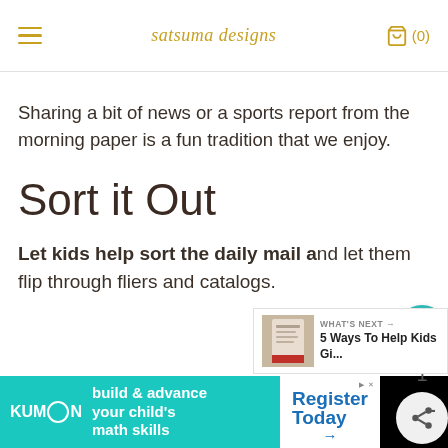satsuma designs
Sharing a bit of news or a sports report from the morning paper is a fun tradition that we enjoy.
Sort it Out
Let kids help sort the daily mail and let them flip through fliers and catalogs.
[Figure (other): What's Next panel showing a thumbnail image of a book/paper and text '5 Ways To Help Kids Gi...']
[Figure (other): Kumon advertisement banner: 'build & advance your child's math skills' on teal background, 'Register Today ->' on white, and brand logo on black]